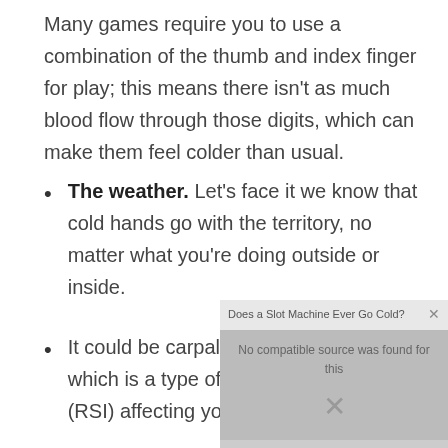Many games require you to use a combination of the thumb and index finger for play; this means there isn't as much blood flow through those digits, which can make them feel colder than usual.
The weather. Let's face it we know that cold hands go with the territory, no matter what you're doing outside or inside.
It could be carpal tunnel syndrome which is a type of repetitive stress injury (RSI) affecting your wrist and fingers."
"In some people who have RSI in their wrists or
[Figure (screenshot): A video player overlay showing 'Does a Slot Machine Ever Go Cold?' with message 'No compatible source was found for this' and a close (X) button, partially overlapping the content.]